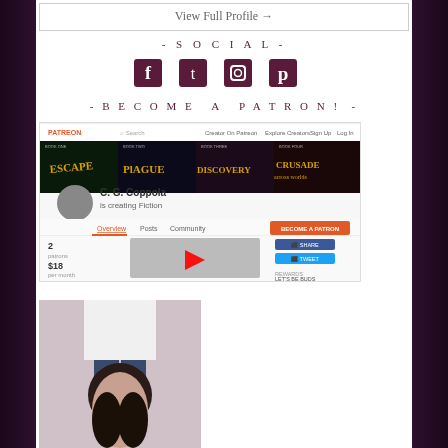View Full Profile →
- SOCIAL -
[Figure (infographic): Social media icons: Facebook, Twitter, Instagram, Pinterest in dark purple/maroon color]
- BECOME A PATRON! -
[Figure (screenshot): Screenshot of Patreon page for C. G. Coppola showing 'C. G. Coppola is creating Fiction' with book covers for Escape, Plague, Discovery, Crusade across Worlds. Shows 2 patrons, $18 per month, Overview/Posts/Community tabs, a YouTube video thumbnail, Share and Tweet buttons, and 'LET'S BE BUDS' rewards section.]
[Figure (photo): Photo of a person (presumably C. G. Coppola) standing, showing lower body and face partially visible, dark hair.]